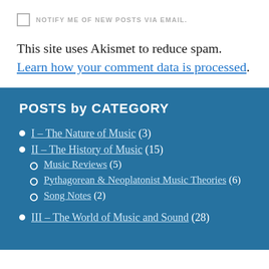NOTIFY ME OF NEW POSTS VIA EMAIL.
This site uses Akismet to reduce spam. Learn how your comment data is processed.
POSTS by CATEGORY
I – The Nature of Music (3)
II – The History of Music (15)
Music Reviews (5)
Pythagorean & Neoplatonist Music Theories (6)
Song Notes (2)
III – The World of Music and Sound (28)